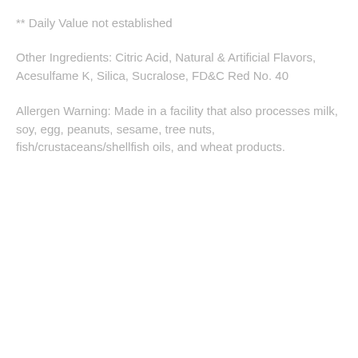** Daily Value not established
Other Ingredients: Citric Acid, Natural & Artificial Flavors, Acesulfame K, Silica, Sucralose, FD&C Red No. 40
Allergen Warning: Made in a facility that also processes milk, soy, egg, peanuts, sesame, tree nuts, fish/crustaceans/shellfish oils, and wheat products.